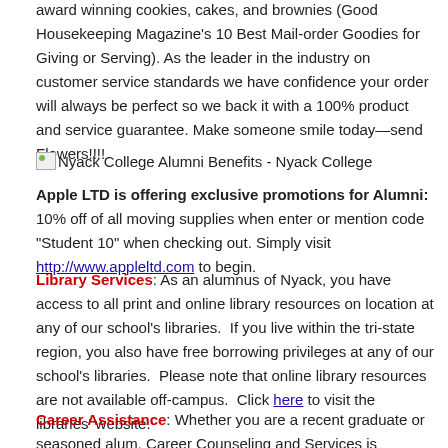award winning cookies, cakes, and brownies (Good Housekeeping Magazine's 10 Best Mail-order Goodies for Giving or Serving). As the leader in the industry on customer service standards we have confidence your order will always be perfect so we back it with a 100% product and service guarantee. Make someone smile today—send Flowers!!!!
[Figure (other): Broken image placeholder labeled 'Nyack College Alumni Benefits - Nyack College']
Apple LTD is offering exclusive promotions for Alumni: 10% off of all moving supplies when enter or mention code "Student 10" when checking out. Simply visit http://www.appleltd.com to begin.
Library Services: As an alumnus of Nyack, you have access to all print and online library resources on location at any of our school's libraries. If you live within the tri-state region, you also have free borrowing privileges at any of our school's libraries. Please note that online library resources are not available off-campus. Click here to visit the libraries' website.
Career Assistance: Whether you are a recent graduate or seasoned alum, Career Counseling and Services is available to help you achieve your full